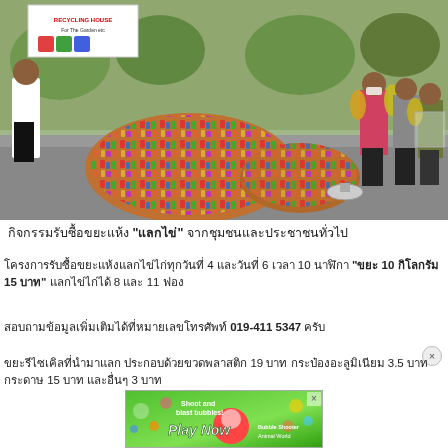[Figure (photo): Outdoor photo showing people standing around large bags of collected recyclables (aluminium cans in colorful wrappers) on a road. A person in white shirt stands on the left, three people on the right hold up bottles/jars. Tables with items visible in background, green trees and a banner/sign behind them.]
กิจกรรมรับซื้อขยะแห้ง "แลกไข่" จากชุมชนและประชาชนทั่วไป
โครงการรับซื้อขยะแห้งแลกไข่ไก่ทุกวันที่ 4 และวันที่ 6 เวลา 10 นาฬิกา "ขยะ 10 กิโลกรัม 15 บาท" แลกไข่ไก่ได้ 8 และ 11 ฟอง
สอบถามข้อมูลเพิ่มเติมได้ที่หมายเลขโทรศัพท์ 019-411 5347 ครับ
ขยะรีไซเคิลที่นำมาแลก ประกอบด้วยขวดพลาสติก 19 บาท กระป๋องอะลูมิเนียม 3.5 บาท กระดาษ 15 บาท และอื่นๆ 3 บาท
[Figure (photo): Advertisement banner: green background with cartoon bubbles, text 'Shoot and blast bubbles! Play Now' and 'Bubble Shooter Animal World']